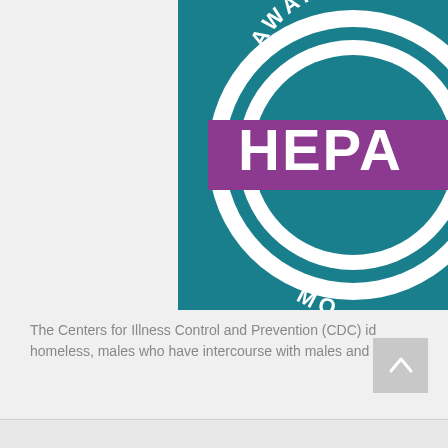[Figure (logo): Hepatitis Awareness Month badge/seal on teal background, circular design with text 'AWARENESS' at top arc, 'HEPA' visible on purple banner across middle, 'MO' at bottom arc, white circle with teal background]
The Centers for Illness Control and Prevention (CDC) id... homeless, males who have intercourse with males and ...